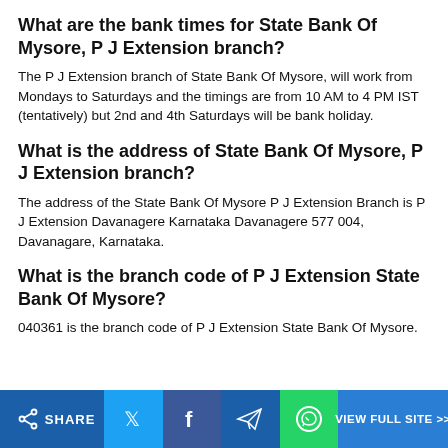What are the bank times for State Bank Of Mysore, P J Extension branch?
The P J Extension branch of State Bank Of Mysore, will work from Mondays to Saturdays and the timings are from 10 AM to 4 PM IST (tentatively) but 2nd and 4th Saturdays will be bank holiday.
What is the address of State Bank Of Mysore, P J Extension branch?
The address of the State Bank Of Mysore P J Extension Branch is P J Extension Davanagere Karnataka Davanagere 577 004, Davanagare, Karnataka.
What is the branch code of P J Extension State Bank Of Mysore?
040361 is the branch code of P J Extension State Bank Of Mysore.
SHARE | Twitter | Facebook | Telegram | WhatsApp | VIEW FULL SITE >>